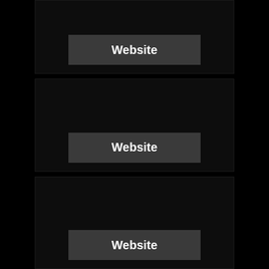[Figure (screenshot): Dark panel 1 with a Website button at the bottom]
[Figure (screenshot): Dark panel 2 with a Website button at the bottom]
[Figure (screenshot): Dark panel 3 with a Website button at the bottom]